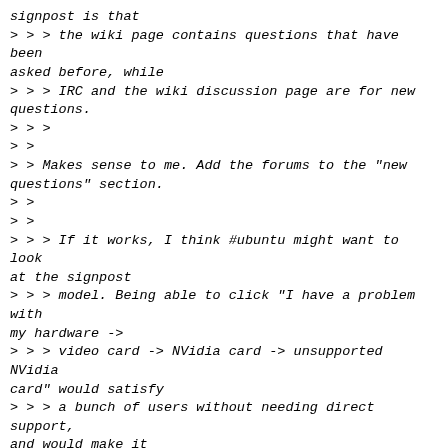signpost is that
> > > the wiki page contains questions that have been asked before, while
> > > IRC and the wiki discussion page are for new questions.
> > >
> >
> > Makes sense to me. Add the forums to the "new questions" section.
> >
> >
> > > If it works, I think #ubuntu might want to look at the signpost
> > > model. Being able to click "I have a problem with my hardware ->
> > > video card -> NVidia card -> unsupported NVidia card" would satisfy
> > > a bunch of users without needing direct support, and would make it
> > > easier to direct people towards the "level 2 tech support" channels.
> > >
> > > Done right, a signpost-like model could also ensure that level 2
> > > support requests are well formulated.  Leaf nodes for unknown
> > > problems might look like this:
> > >
> > > BEGIN WIKITEXT
> > >
> > > == Modern NVidia card with no known issues